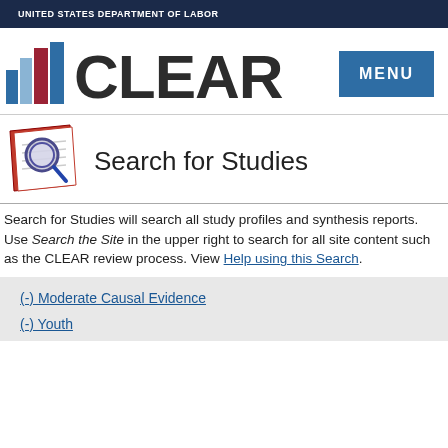UNITED STATES DEPARTMENT OF LABOR
[Figure (logo): CLEAR logo with bar chart icon and MENU button]
Search for Studies
Search for Studies will search all study profiles and synthesis reports. Use Search the Site in the upper right to search for all site content such as the CLEAR review process. View Help using this Search.
(-) Moderate Causal Evidence
(-) Youth